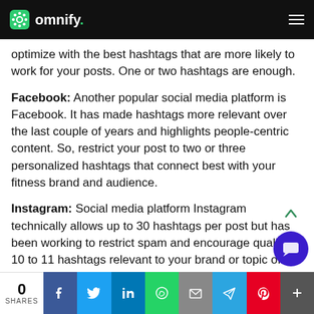omnify.
optimize with the best hashtags that are more likely to work for your posts. One or two hashtags are enough.
Facebook: Another popular social media platform is Facebook. It has made hashtags more relevant over the last couple of years and highlights people-centric content. So, restrict your post to two or three personalized hashtags that connect best with your fitness brand and audience.
Instagram: Social media platform Instagram technically allows up to 30 hashtags per post but has been working to restrict spam and encourage quality. 10 to 11 hashtags relevant to your brand or topic of discussion shou optimal to get your post more reach and engag
0 SHARES | Facebook | Twitter | LinkedIn | WhatsApp | Email | Telegram | Pinterest | More